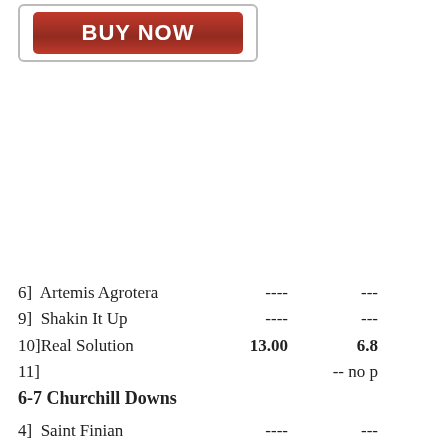[Figure (other): BUY NOW button inside a bordered box]
| Entry | Col1 | Col2 |
| --- | --- | --- |
| 6]  Artemis Agrotera | ---- | --- |
| 9]  Shakin It Up | ---- | --- |
| 10]Real Solution | 13.00 | 6.8 |
| 11] |  | -- no p |
6-7 Churchill Downs
| Entry | Col1 | Col2 |
| --- | --- | --- |
| 4]  Saint Finian | ---- | --- |